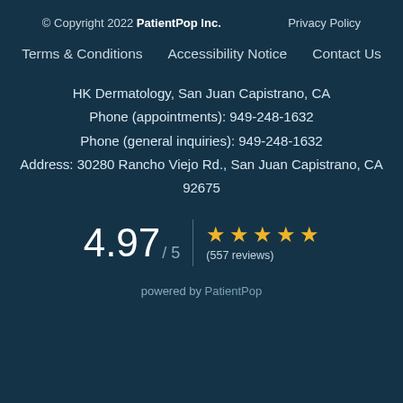© Copyright 2022 PatientPop Inc.    Privacy Policy
Terms & Conditions    Accessibility Notice    Contact Us
HK Dermatology, San Juan Capistrano, CA
Phone (appointments): 949-248-1632
Phone (general inquiries): 949-248-1632
Address: 30280 Rancho Viejo Rd., San Juan Capistrano, CA 92675
4.97 / 5  ★★★★★ (557 reviews)
powered by PatientPop